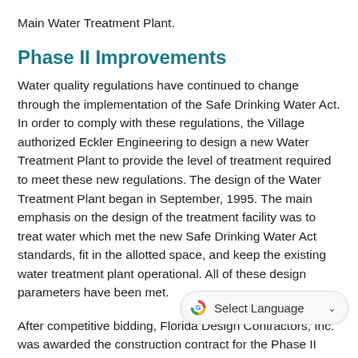Main Water Treatment Plant.
Phase II Improvements
Water quality regulations have continued to change through the implementation of the Safe Drinking Water Act. In order to comply with these regulations, the Village authorized Eckler Engineering to design a new Water Treatment Plant to provide the level of treatment required to meet these new regulations. The design of the Water Treatment Plant began in September, 1995. The main emphasis on the design of the treatment facility was to treat water which met the new Safe Drinking Water Act standards, fit in the allotted space, and keep the existing water treatment plant operational. All of these design parameters have been met.
After competitive bidding, Florida Design Contractors, Inc. was awarded the construction contract for the Phase II Water Treatment Plant Improvements. Proceed was issued on June 2, 1997. Over the next 20